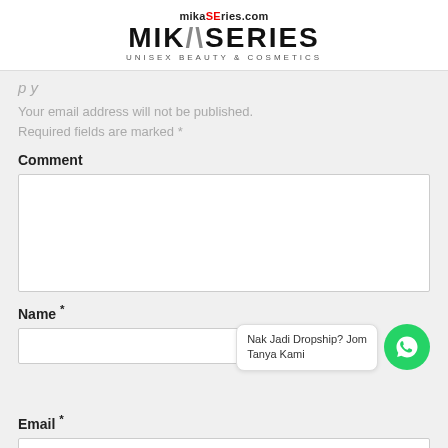[Figure (logo): MikaSeries logo with URL 'mikaSeries.com' above, large bold 'MIKASERIES' text, and tagline 'UNISEX BEAUTY & COSMETICS']
Your email address will not be published. Required fields are marked *
Comment
Name *
Nak Jadi Dropship? Jom Tanya Kami
Email *